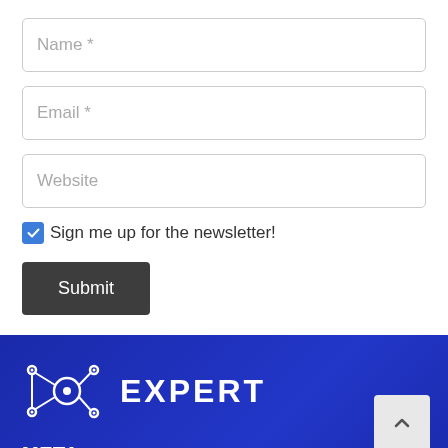Name *
Email *
Website
Sign me up for the newsletter!
Submit
[Figure (logo): IoT Expert logo with circuit node graphic and text EXPERT in white on blue background]
META
Log in